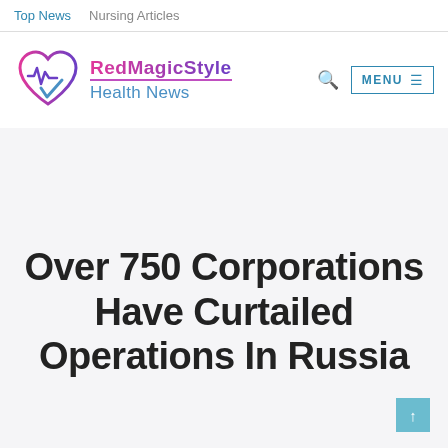Top News   Nursing Articles
[Figure (logo): RedMagicStyle Health News logo with heart and ECG waveform icon, pink and purple gradient text for 'RedMagicStyle', blue text for 'Health News']
Over 750 Corporations Have Curtailed Operations In Russia